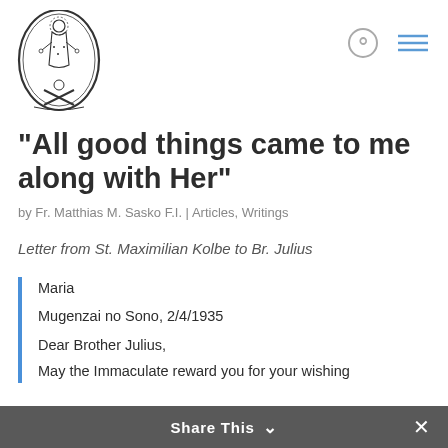[Figure (logo): Oval religious emblem with figure of Mary/Immaculate Conception, bones crossed at base, ornate border]
"All good things came to me along with Her"
by Fr. Matthias M. Sasko F.I. | Articles, Writings
Letter from St. Maximilian Kolbe to Br. Julius
Maria
Mugenzai no Sono, 2/4/1935
Dear Brother Julius,
May the Immaculate reward you for your wishing
Share This